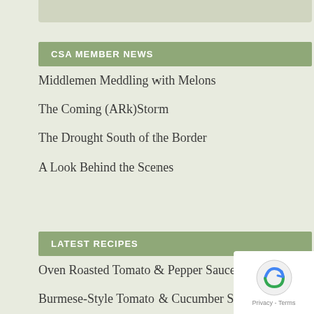CSA MEMBER NEWS
Middlemen Meddling with Melons
The Coming (ARk)Storm
The Drought South of the Border
A Look Behind the Scenes
LATEST RECIPES
Oven Roasted Tomato & Pepper Sauce
Burmese-Style Tomato & Cucumber Salad